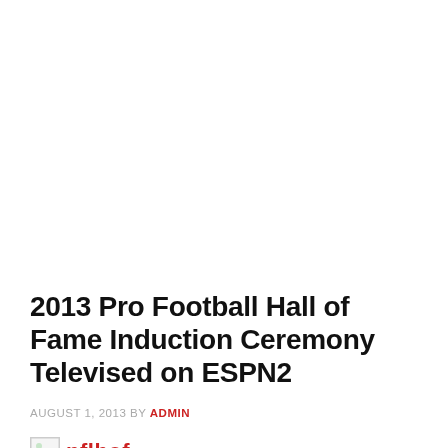2013 Pro Football Hall of Fame Induction Ceremony Televised on ESPN2
AUGUST 1, 2013 BY ADMIN
[Figure (other): Broken image placeholder followed by red 'nflhof' text logo]